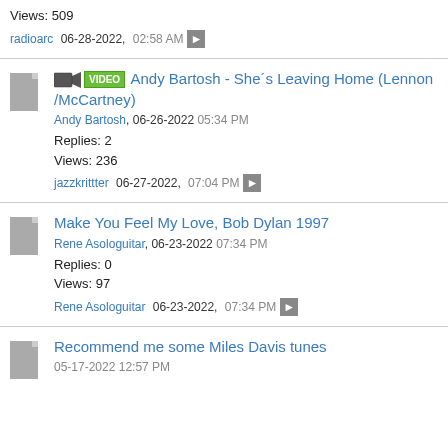Views: 509
radioarc 06-28-2022, 02:58 AM
Andy Bartosh - She´s Leaving Home (Lennon /McCartney)
Andy Bartosh, 06-26-2022 05:34 PM
Replies: 2
Views: 236
jazzkrittter 06-27-2022, 07:04 PM
Make You Feel My Love, Bob Dylan 1997
Rene Asologuitar, 06-23-2022 07:34 PM
Replies: 0
Views: 97
Rene Asologuitar 06-23-2022, 07:34 PM
Recommend me some Miles Davis tunes
05-17-2022 12:57 PM